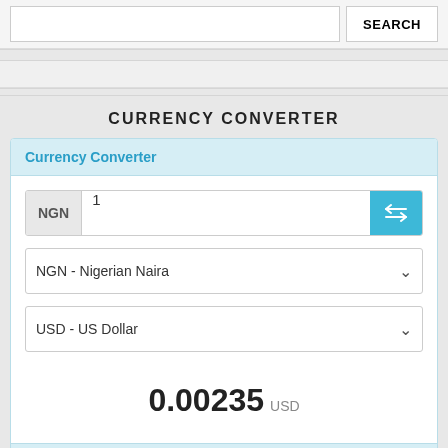[Figure (screenshot): Search bar with text input and SEARCH button]
CURRENCY CONVERTER
Currency Converter
NGN  1
NGN - Nigerian Naira
USD - US Dollar
0.00235 USD
21 Aug, 2022